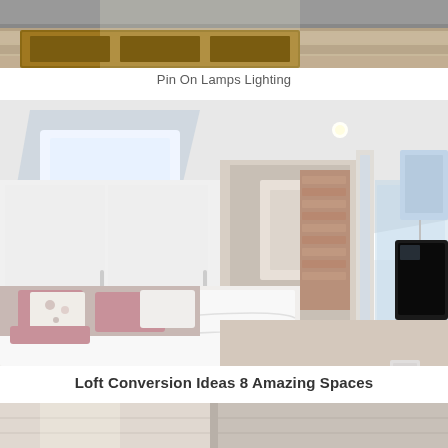[Figure (photo): Partial view of a bedroom with wooden furniture and a grey upholstered headboard, cropped at top of page]
Pin On Lamps Lighting
[Figure (photo): Loft conversion bedroom with slanted skylights, white built-in wardrobes, pink cushions on white bed, and en-suite bathroom visible through open door]
Loft Conversion Ideas 8 Amazing Spaces
[Figure (photo): Partial view of another bedroom interior, cropped at bottom of page]